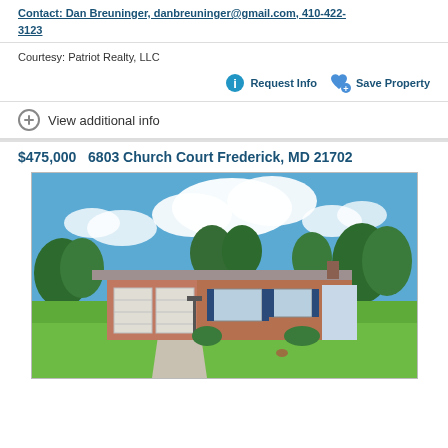Contact: Dan Breuninger, danbreuninger@gmail.com, 410-422-3123
Courtesy: Patriot Realty, LLC
Request Info  Save Property
View additional info
$475,000  6803 Church Court Frederick, MD 21702
[Figure (photo): Exterior photo of a single-story ranch-style brick home with two-car garage, large green lawn, trees in background, and blue sky with white clouds]